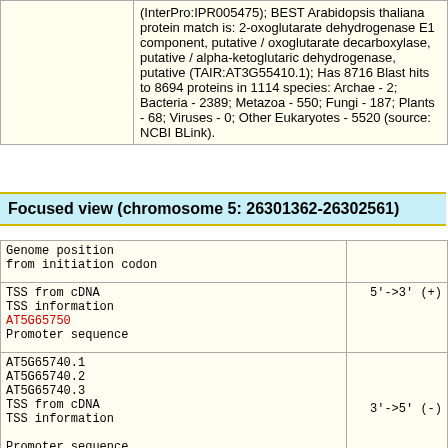|  | Description |
| --- | --- |
|  | (InterPro:IPR005475); BEST Arabidopsis thaliana protein match is: 2-oxoglutarate dehydrogenase E1 component, putative / oxoglutarate decarboxylase, putative / alpha-ketoglutaric dehydrogenase, putative (TAIR:AT3G55410.1); Has 8716 Blast hits to 8694 proteins in 1114 species: Archae - 2; Bacteria - 2389; Metazoa - 550; Fungi - 187; Plants - 68; Viruses - 0; Other Eukaryotes - 5520 (source: NCBI BLink). |
Focused view (chromosome 5: 26301362-26302561)
| Genome position / TSS info / Gene | Direction |
| --- | --- |
| Genome position
from initiation codon |  |
| TSS from cDNA
TSS information
AT5G65750
Promoter sequence | 5'->3' (+) |
| AT5G65740.1
AT5G65740.2
AT5G65740.3
TSS from cDNA
TSS information
Promoter sequence | 3'->5' (-) |
| TSS tag distribution(+) |  |